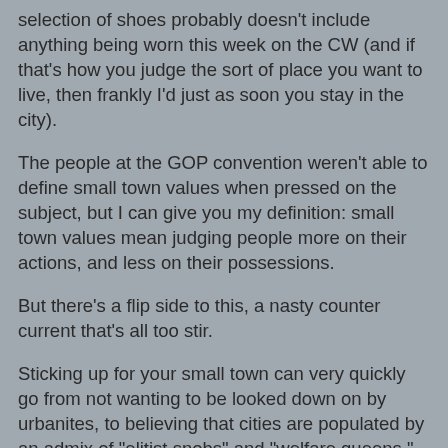selection of shoes probably doesn't include anything being worn this week on the CW (and if that's how you judge the sort of place you want to live, then frankly I'd just as soon you stay in the city).
The people at the GOP convention weren't able to define small town values when pressed on the subject, but I can give you my definition: small town values mean judging people more on their actions, and less on their possessions.
But there's a flip side to this, a nasty counter current that's all too stir.
Sticking up for your small town can very quickly go from not wanting to be looked down on by urbanites, to believing that cities are populated by an admix of "elitist snobs" and "welfare queens." Defending the things close to you can turn into attacking the things you've not had the opportunity to participate in, even when those things are as valuable as world travel, a top